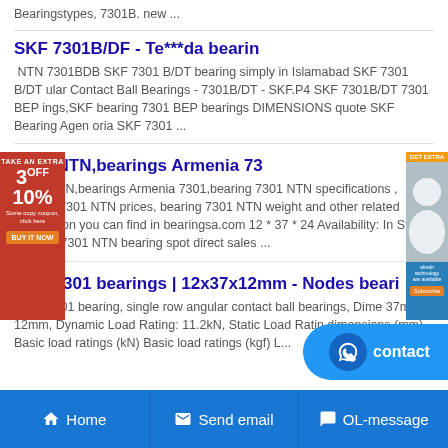Bearingstypes, 7301B. new ...
SKF 7301B/DF - Te***da bearin
NTN 7301BDB SKF 7301 B/DT bearing simply in Islamabad SKF 7301 B/DT ular Contact Ball Bearings - 7301B/DT - SKF.P4 SKF 7301B/DT 7301 BEP ings,SKF bearing 7301 BEP bearings DIMENSIONS quote SKF Bearing Agen oria SKF 7301 ...
7301 NTN,bearings Armenia 73
7301 NTN,bearings Armenia 7301,bearing 7301 NTN specifications , bearing 7301 NTN prices, bearing 7301 NTN weight and other related information you can find in bearingsa.com 12 * 37 * 24 Availability: In Stock Original 7301 NTN bearing spot direct sales ...
NTN 7301 bearings | 12x37x12mm - Nodes beari
NTN 7301 bearing, single row angular contact ball bearings, Dime 37mm x 12mm, Dynamic Load Rating: 11.2kN, Static Load Ratin dimensions (mm) Basic load ratings (kN) Basic load ratings (kgf) L...
[Figure (other): Red advertisement banner on left side with '3OFF 10%' discount offer]
[Figure (other): Blue advertisement banner on right side with product image]
[Figure (other): Blue contact bubble button on bottom right]
Home   Send email   OL-message